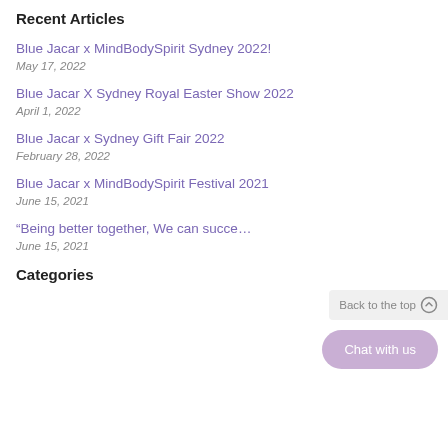Recent Articles
Blue Jacar x MindBodySpirit Sydney 2022!
May 17, 2022
Blue Jacar X Sydney Royal Easter Show 2022
April 1, 2022
Blue Jacar x Sydney Gift Fair 2022
February 28, 2022
Blue Jacar x MindBodySpirit Festival 2021
June 15, 2021
“Being better together, We can succe…
June 15, 2021
Categories